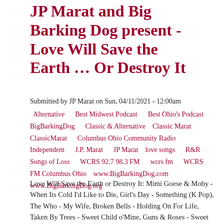JP Marat and Big Barking Dog present - Love Will Save the Earth … Or Destroy It
Submitted by JP Marat on Sun, 04/11/2021 - 12:00am
Alternative    Best Midwest Podcast    Best Ohio's Podcast    BigBarkingDog    Classic & Alternative    Classic Marat    ClassicMarat    Columbus Ohio    Community Radio    Independent    J.P. Marat    JP Marat    love songs    R&R    Songs of Loss    WCRS 92.7 98.3 FM    wcrs fm    WCRS FM Columbus Ohio    www.BigBarkingDog.com    www.BigBarkingDog.org
Love Will Save the Earth or Destroy It: Mimi Goese & Moby - When Its Cold I'd Like to Die, Girl's Day - Something (K Pop), The Who - My Wife, Broken Bells - Holding On For Life, Taken By Trees - Sweet Child o'Mine, Guns & Roses - Sweet Child o'mine, Gene Loves Jezebel - Break The Chain, Gnarls Barkley - Crazy, Bjork - All Is Full of Love, Billie Ellish - Ocean Eyes, APink - Luv (K Pop), Mo Sabri -